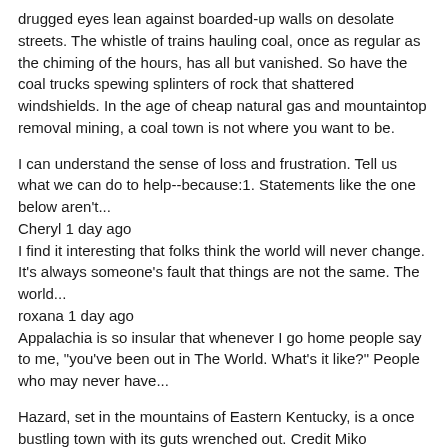drugged eyes lean against boarded-up walls on desolate streets. The whistle of trains hauling coal, once as regular as the chiming of the hours, has all but vanished. So have the coal trucks spewing splinters of rock that shattered windshields. In the age of cheap natural gas and mountaintop removal mining, a coal town is not where you want to be.
I can understand the sense of loss and frustration. Tell us what we can do to help--because:1. Statements like the one below aren't...
Cheryl 1 day ago
I find it interesting that folks think the world will never change. It's always someone's fault that things are not the same. The world...
roxana 1 day ago
Appalachia is so insular that whenever I go home people say to me, "you've been out in The World. What's it like?" People who may never have...
Hazard, set in the mountains of Eastern Kentucky, is a once bustling town with its guts wrenched out. Credit Miko